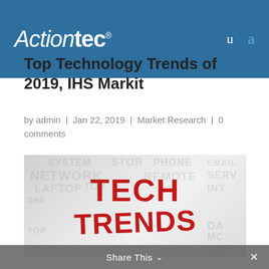Actiontec® | u | a
Top Technology Trends of 2019, IHS Markit
by admin | Jan 22, 2019 | Market Research | 0 comments
[Figure (illustration): Tech Trends word cloud image with red bold TECH TRENDS text in center, surrounded by faded gray technology-related words like SYSTEM, NETWORK, PHONE, REMOTE, EMAIL, LAPTOP, DATA, etc.]
Share This ∨  ×